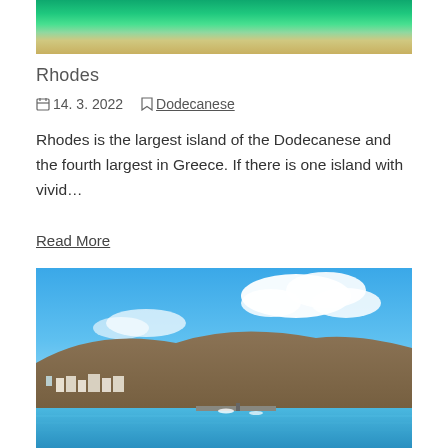[Figure (photo): Aerial view of a beach with turquoise and green water, sandy shore visible at right edge]
Rhodes
14. 3. 2022   Dodecanese
Rhodes is the largest island of the Dodecanese and the fourth largest in Greece. If there is one island with vivid…
Read More
[Figure (photo): Coastal town with whitewashed buildings, hillside, blue sky with clouds, and blue water harbor with boats]